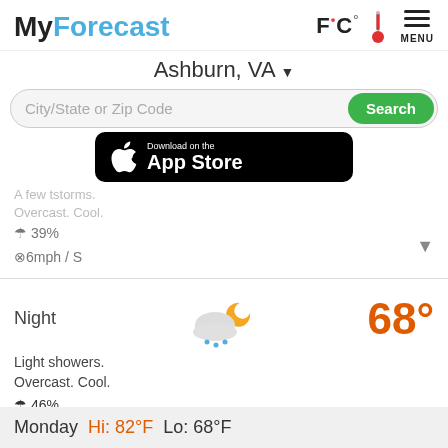MyForecast  F°C°  MENU
Ashburn, VA ▼
City/State or Zip Code  Search
[Figure (screenshot): Download on the App Store banner]
A few tstorms. Overcast. Cool.
☂ 39%
⊙6mph / S
Night  68°
Light showers. Overcast. Cool.
☂ 46%
⊙6mph / S
Monday  Hi: 82°F  Lo: 68°F